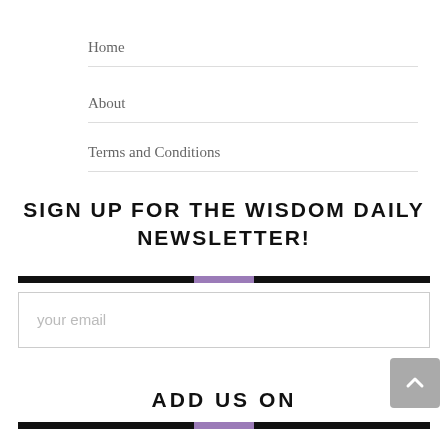Home
About
Terms and Conditions
SIGN UP FOR THE WISDOM DAILY NEWSLETTER!
[Figure (other): Email signup input box with placeholder text 'your email']
[Figure (other): Back to top button (grey rounded square with upward arrow)]
ADD US ON
[Figure (other): Decorative black divider bar with purple center segment]